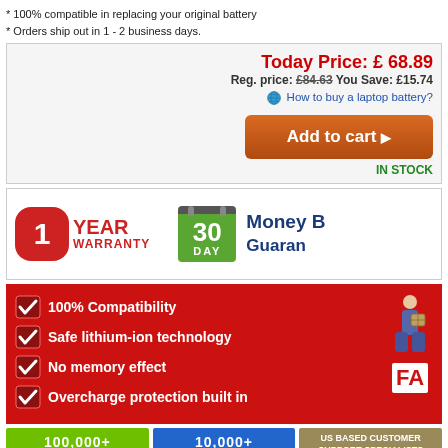* 100% compatible in replacing your original battery
* Orders ship out in 1 - 2 business days.
Today Price: £ 68.89
Reg. price: £84.63 You Save: £15.74
How to buy a laptop battery?
Add to cart
IN STOCK
[Figure (infographic): 1 YEAR WARRANTY badge and 30 DAY Money Back Guarantee badge]
[Figure (infographic): Red banner with checkmarks listing: 100% Compatibility, Safe lithium-ion technology, No memory effect, Overcharge protection built in; delivery man figure on right with FA text]
[Figure (infographic): Three stat boxes: 100,000+ Satisfied Customers (green), 10,000+ Batteries in Stock (blue), US Based Customer Support Specialists (tan/gold)]